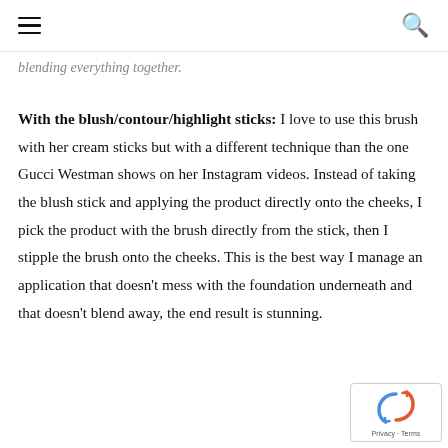[hamburger menu icon] [search icon]
blending everything together.
With the blush/contour/highlight sticks: I love to use this brush with her cream sticks but with a different technique than the one Gucci Westman shows on her Instagram videos. Instead of taking the blush stick and applying the product directly onto the cheeks, I pick the product with the brush directly from the stick, then I stipple the brush onto the cheeks. This is the best way I manage an application that doesn't mess with the foundation underneath and that doesn't blend away, the end result is stunning.
[Figure (logo): reCAPTCHA badge with rotating arrows icon and Privacy - Terms text]